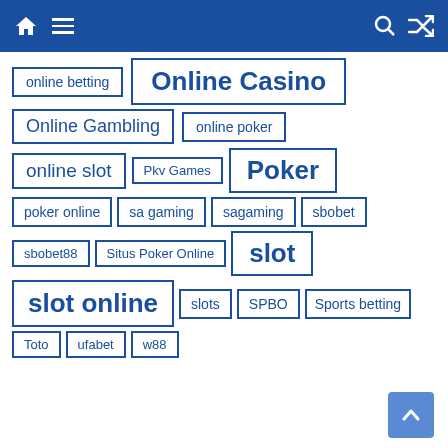Navigation bar with home, menu, search, shuffle icons
online betting
Online Casino
Online Gambling
online poker
online slot
Pkv Games
Poker
poker online
sa gaming
sagaming
sbobet
sbobet88
Situs Poker Online
slot
slot online
slots
SPBO
Sports betting
Toto
ufabet
w88